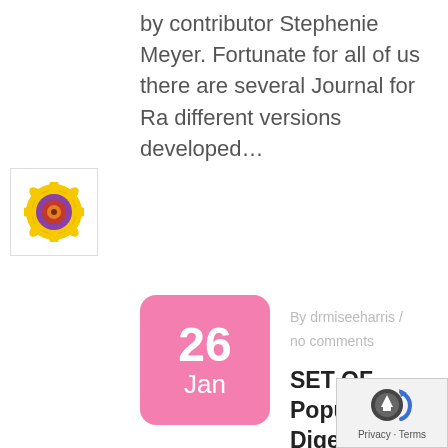by contributor Stephenie Meyer. Fortunate for all of us there are several Journal for Ra different versions developed…
Read More
[Figure (illustration): Flower/sunflower icon with yellow petals, red inner ring, and purple outer ring on white background with border]
By drmiseeharris / no comments
SET OF Popular Digestive system Diseases
[Figure (logo): Google reCAPTCHA badge with Privacy and Terms labels]